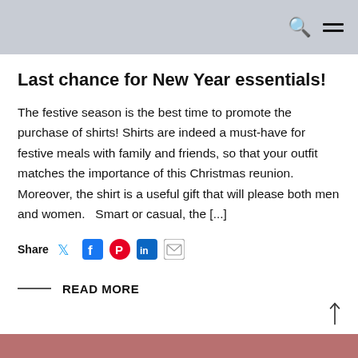[Navigation bar with search and menu icons]
Last chance for New Year essentials!
The festive season is the best time to promote the purchase of shirts! Shirts are indeed a must-have for festive meals with family and friends, so that your outfit matches the importance of this Christmas reunion. Moreover, the shirt is a useful gift that will please both men and women.   Smart or casual, the [...]
Share [Twitter] [Facebook] [Pinterest] [LinkedIn] [Email]
— READ MORE